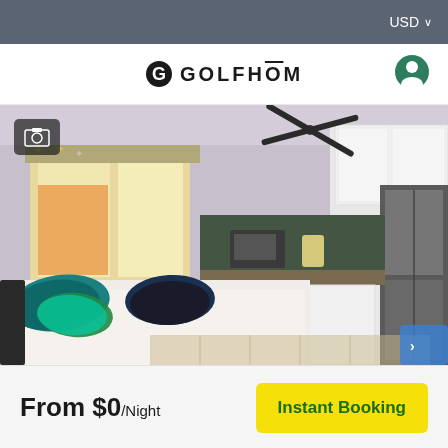USD
GOLFHŌM
[Figure (photo): Interior photo of a studio apartment showing a bed with teal sequin pillows, a kitchenette with white cabinetry, dark mosaic tile backsplash, stainless steel refrigerator, and a window with natural light.]
From $0/Night
Instant Booking